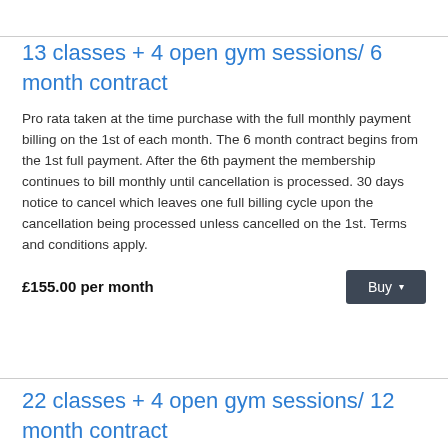13 classes + 4 open gym sessions/ 6 month contract
Pro rata taken at the time purchase with the full monthly payment billing on the 1st of each month. The 6 month contract begins from the 1st full payment. After the 6th payment the membership continues to bill monthly until cancellation is processed. 30 days notice to cancel which leaves one full billing cycle upon the cancellation being processed unless cancelled on the 1st. Terms and conditions apply.
£155.00 per month
22 classes + 4 open gym sessions/ 12 month contract
Pro rata taken at the time purchase with the full monthly payment billing on the 1st of each month. The 12 month contract begins